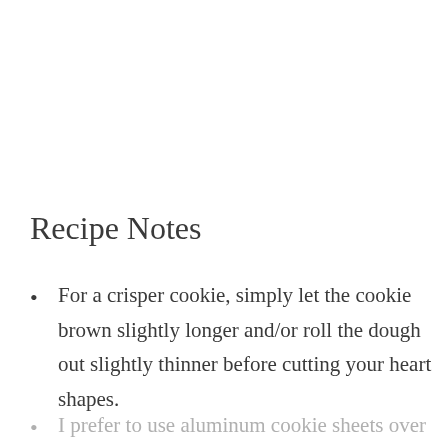Recipe Notes
For a crisper cookie, simply let the cookie brown slightly longer and/or roll the dough out slightly thinner before cutting your heart shapes.
I prefer to use aluminum cookie sheets over dark, non-stick cookie sheets.